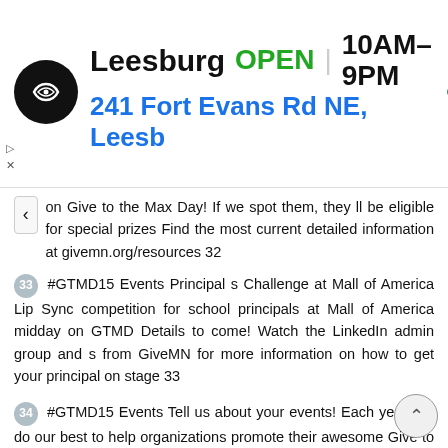[Figure (screenshot): Advertisement banner showing a store location: Leesburg OPEN 10AM-9PM, 241 Fort Evans Rd NE, Leesb, with a black circular logo and a blue navigation arrow icon]
on Give to the Max Day! If we spot them, they ll be eligible for special prizes Find the most current detailed information at givemn.org/resources 32
33 #GTMD15 Events Principal s Challenge at Mall of America Lip Sync competition for school principals at Mall of America midday on GTMD Details to come! Watch the LinkedIn admin group and s from GiveMN for more information on how to get your principal on stage 33
34 #GTMD15 Events Tell us about your events! Each year, we do our best to help organizations promote their awesome Give to the Max Day activities. We are curating a list of all of your special events to put on our website, marketing it available to thousands of donors and interested media. Big or small, share your tales of awesomeness with us at 34